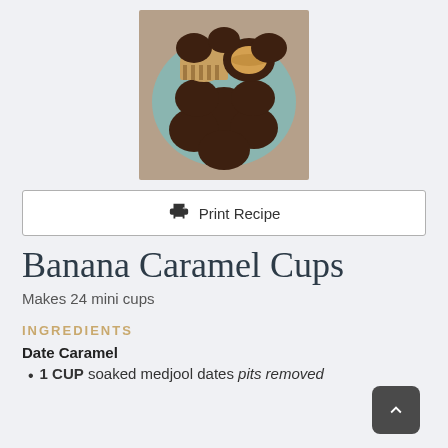[Figure (photo): Photo of chocolate banana caramel cups arranged in a bowl, viewed from above. Some cups are whole and some are cut showing the caramel filling inside.]
Print Recipe
Banana Caramel Cups
Makes 24 mini cups
INGREDIENTS
Date Caramel
1 CUP soaked medjool dates pits removed